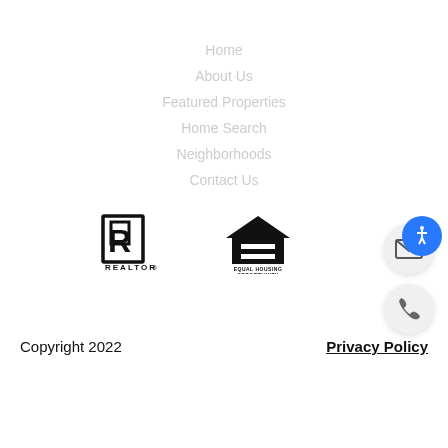Home
About Us
Featured Properties
Home Search
Neighborhoods
Contact Us
[Figure (logo): REALTOR logo — black stylized R with REALTOR text below]
[Figure (logo): Equal Housing Opportunity logo — house icon with equals sign and text EQUAL HOUSING OPPORTUNITY]
[Figure (illustration): Email/envelope icon button (circle)]
[Figure (illustration): Phone icon button (circle)]
[Figure (illustration): Accessibility icon button (blue circle with person symbol)]
Copyright 2022
Privacy Policy